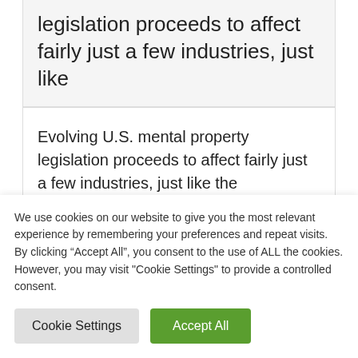legislation proceeds to affect fairly just a few industries, just like
Evolving U.S. mental property legislation proceeds to affect fairly just a few industries, just like the technological know-how and pharmaceutical sectors, with 2022 promising to be no completely
We use cookies on our website to give you the most relevant experience by remembering your preferences and repeat visits. By clicking “Accept All”, you consent to the use of ALL the cookies. However, you may visit "Cookie Settings" to provide a controlled consent.